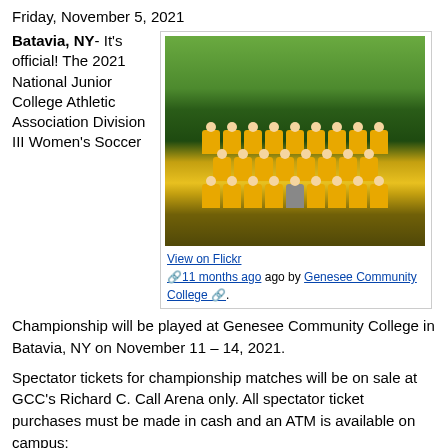Friday, November 5, 2021
Batavia, NY- It's official! The 2021 National Junior College Athletic Association Division III Women's Soccer Championship will be played at Genesee Community College in Batavia, NY on November 11 – 14, 2021.
[Figure (photo): Group photo of the 2021 women's soccer team in gold uniforms, posing in three rows on a field with a painted logo on the ground.]
View on Flickr
11 months ago ago by Genesee Community College.
Spectator tickets for championship matches will be on sale at GCC's Richard C. Call Arena only. All spectator ticket purchases must be made in cash and an ATM is available on campus:
Daily Passes are $10 per adult. Children ages 10 & younger are free.